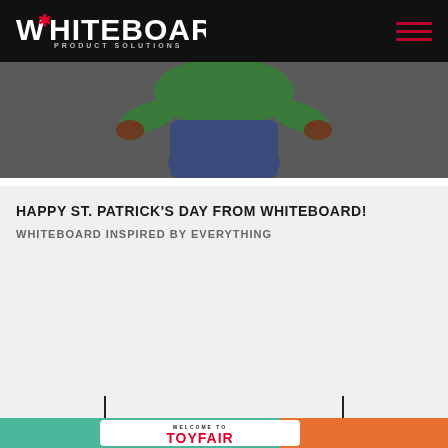WHITEBOARD PRODUCT SOLUTIONS
[Figure (photo): Person crouching on pavement wearing green shirt and jeans, upper body and hands visible]
HAPPY ST. PATRICK'S DAY FROM WHITEBOARD!
WHITEBOARD INSPIRED BY EVERYTHING
READ MORE
[Figure (photo): Toyfair sign reading WELCOME TO TOYFAIR with cartoon characters in teal and orange background]